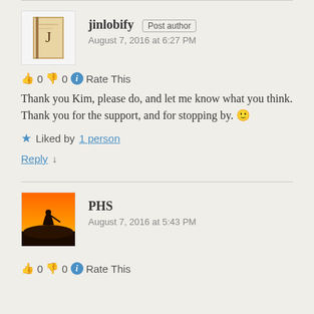jinlobify Post author
August 7, 2016 at 6:27 PM
👍 0 👎 0 ℹ Rate This
Thank you Kim, please do, and let me know what you think. Thank you for the support, and for stopping by. 🙂
★ Liked by 1 person
Reply ↓
PHS
August 7, 2016 at 5:43 PM
👍 0 👎 0 ℹ Rate This